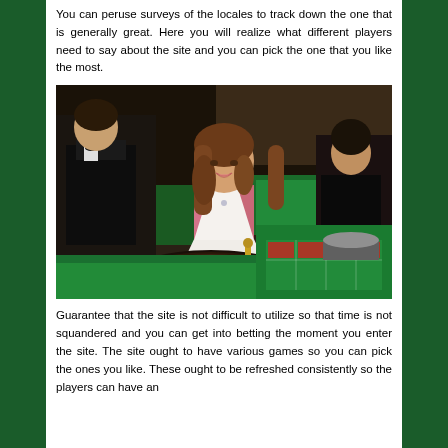You can peruse surveys of the locales to track down the one that is generally great. Here you will realize what different players need to say about the site and you can pick the one that you like the most.
[Figure (photo): A smiling female casino dealer in a white and pink dress standing at a roulette table, with another dealer in the background at a green felt card table, in a casino setting.]
Guarantee that the site is not difficult to utilize so that time is not squandered and you can get into betting the moment you enter the site. The site ought to have various games so you can pick the ones you like. These ought to be refreshed consistently so the players can have an